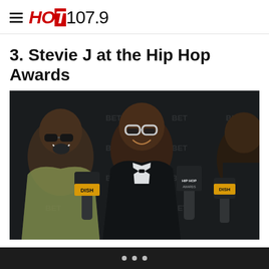≡ HOT 107.9
3. Stevie J at the Hip Hop Awards
[Figure (photo): Stevie J and another person at the BET Hip Hop Awards red carpet, both smiling, holding microphones branded 'DISH' and 'HIP HOP AWARDS'. Black step-and-repeat backdrop visible. Stevie J wearing a black suit with bow tie and white-framed sunglasses.]
• • •